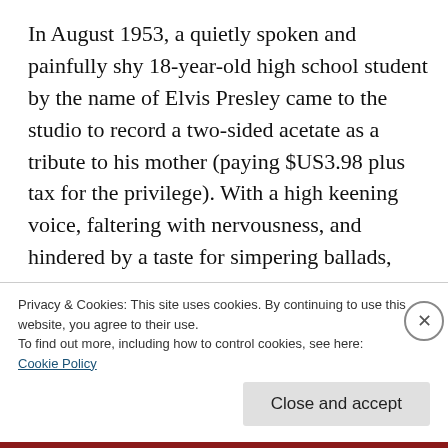In August 1953, a quietly spoken and painfully shy 18-year-old high school student by the name of Elvis Presley came to the studio to record a two-sided acetate as a tribute to his mother (paying $US3.98 plus tax for the privilege). With a high keening voice, faltering with nervousness, and hindered by a taste for simpering ballads, Phillips was nonetheless intrigued by the boy's potential and made a
Privacy & Cookies: This site uses cookies. By continuing to use this website, you agree to their use.
To find out more, including how to control cookies, see here:
Cookie Policy
Close and accept